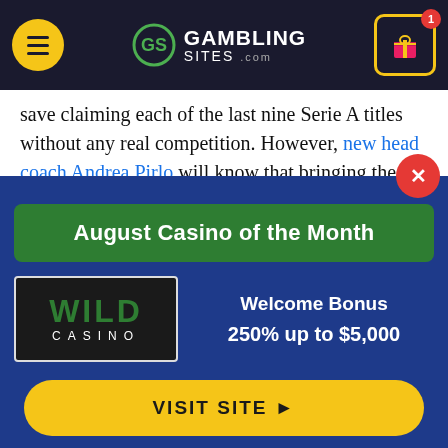GAMBLING SITES .com
save claiming each of the last nine Serie A titles without any real competition. However, new head coach Andrea Pirlo will know that bringing the UCL trophy back to Turin is the hierarchy's top priority.
The inexperienced coach will be happy with his side's favorable group-stage draw, although Barcelona will obviously pose some problems. Dynamo Kiev and Ferencvaros are the other teams in Group G, so Juventu
[Figure (infographic): August Casino of the Month popup banner with Wild Casino logo, Welcome Bonus 250% up to $5,000, and VISIT SITE button]
August Casino of the Month
Welcome Bonus
250% up to $5,000
VISIT SITE ▶